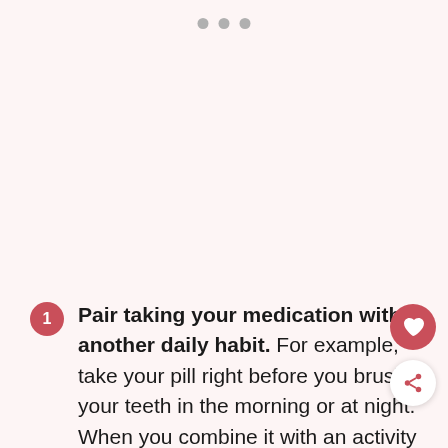[Figure (other): Three grey dots indicating pagination/progress at the top of the page]
Pair taking your medication with another daily habit. For example, take your pill right before you brush your teeth in the morning or at night. When you combine it with an activity that is already a habit, you're less likely to forget! I've made mine part of my nightly routine. After I brush my teeth, when I'm plugging in my phone, I